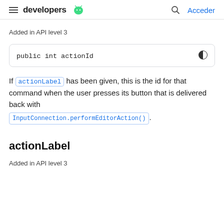developers | Acceder
Added in API level 3
public int actionId
If actionLabel has been given, this is the id for that command when the user presses its button that is delivered back with InputConnection.performEditorAction().
actionLabel
Added in API level 3